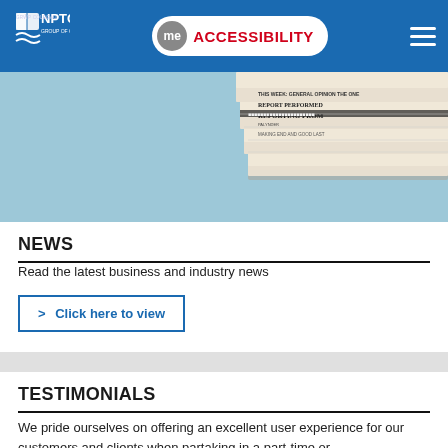NPTC Group of Colleges — ACCESSIBILITY — navigation menu
[Figure (photo): Stack of newspapers against a light blue background, shown on the right side of a hero banner area.]
NEWS
Read the latest business and industry news
> Click here to view
TESTIMONIALS
We pride ourselves on offering an excellent user experience for our customers and clients when partaking in a part-time or professional training course with